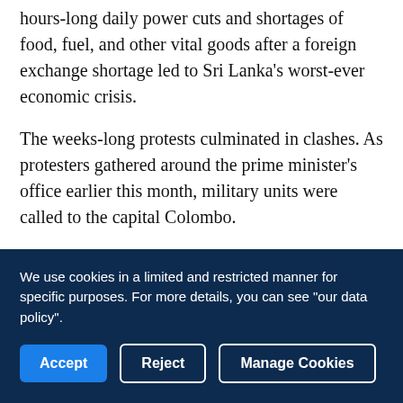hours-long daily power cuts and shortages of food, fuel, and other vital goods after a foreign exchange shortage led to Sri Lanka's worst-ever economic crisis.
The weeks-long protests culminated in clashes. As protesters gathered around the prime minister's office earlier this month, military units were called to the capital Colombo.
Amid growing pressure from the opposition, Mahinda Rajapaksa stepped down as prime minister.
The government declared a nationwide curfew and ordered troops to open fire on anyone looting public property or causing harm to life.
We use cookies in a limited and restricted manner for specific purposes. For more details, you can see "our data policy".
Accept | Reject | Manage Cookies